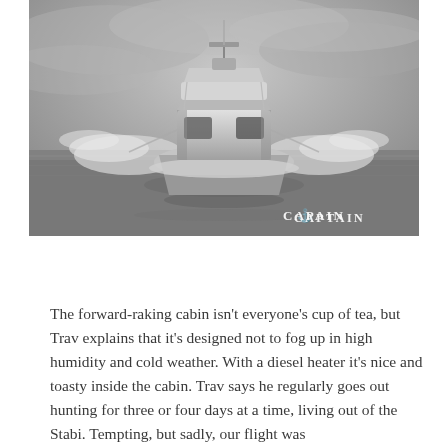[Figure (photo): Black and white photograph of a motorboat speeding across water, viewed head-on. The boat has a forward-raking cabin with navigation equipment on top. Water spray is visible on either side. A 'CAPTAIN' watermark with anchor icon appears in the bottom right corner.]
The forward-raking cabin isn't everyone's cup of tea, but Trav explains that it's designed not to fog up in high humidity and cold weather. With a diesel heater it's nice and toasty inside the cabin. Trav says he regularly goes out hunting for three or four days at a time, living out of the Stabi. Tempting, but sadly, our flight was